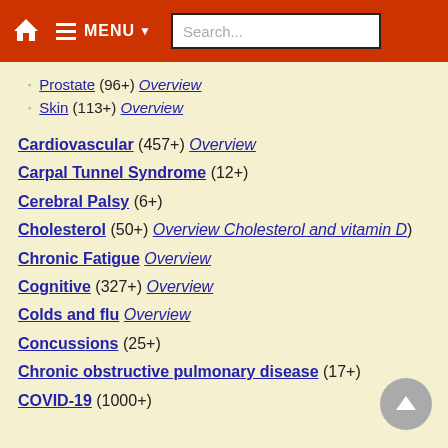MENU Search...
Prostate (96+) Overview
Skin (113+) Overview
Cardiovascular (457+) Overview
Carpal Tunnel Syndrome (12+)
Cerebral Palsy (6+)
Cholesterol (50+) Overview Cholesterol and vitamin D)
Chronic Fatigue Overview
Cognitive (327+) Overview
Colds and flu Overview
Concussions (25+)
Chronic obstructive pulmonary disease (17+)
COVID-19 (1000+)